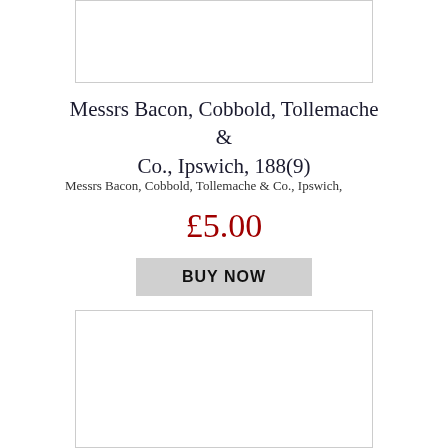[Figure (other): White image placeholder box at top]
Messrs Bacon, Cobbold, Tollemache & Co., Ipswich, 188(9)
Messrs Bacon, Cobbold, Tollemache & Co., Ipswich,
£5.00
BUY NOW
[Figure (other): White image placeholder box at bottom]